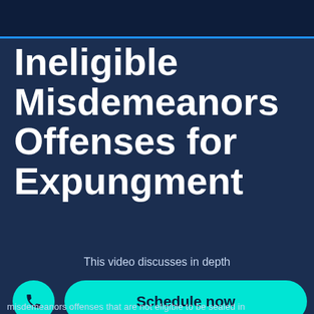Ineligible Misdemeanors Offenses for Expungment
This video discusses in depth
Schedule now
misdemeanors offenses that are not eligible to be sealed in